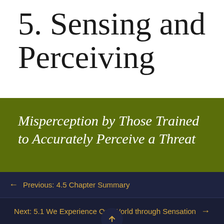5. Sensing and Perceiving
Misperception by Those Trained to Accurately Perceive a Threat
On September 6, 2007, the Asia-Pacific Economic Cooperation (APEC) leaders' summit was being held in downtown
← Previous: 4.5 Chapter Summary
Next: 5.1 We Experience Our World through Sensation →